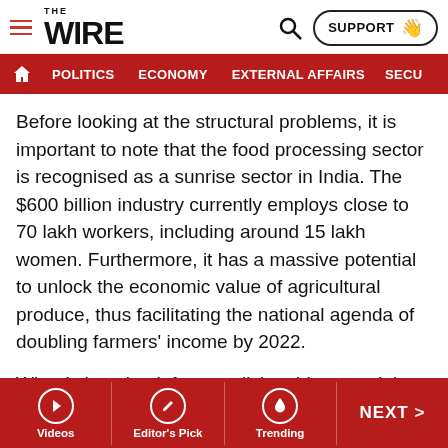THE WIRE — SUPPORT | POLITICS | ECONOMY | EXTERNAL AFFAIRS | SECU…
Before looking at the structural problems, it is important to note that the food processing sector is recognised as a sunrise sector in India. The $600 billion industry currently employs close to 70 lakh workers, including around 15 lakh women. Furthermore, it has a massive potential to unlock the economic value of agricultural produce, thus facilitating the national agenda of doubling farmers' income by 2022.
What is keeping it from realising this potential though?
Firstly, the financial costs of interest on loans, working capital, and return on investments for shareholders have a significant impact on the viability of food processing
Videos | Editor's Pick | Trending | NEXT >